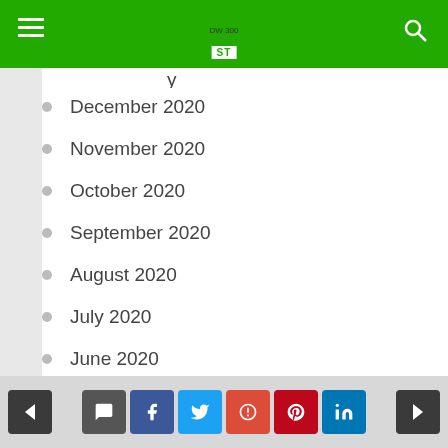ST
December 2020
November 2020
October 2020
September 2020
August 2020
July 2020
June 2020
May 2020
April 2020
March 2020